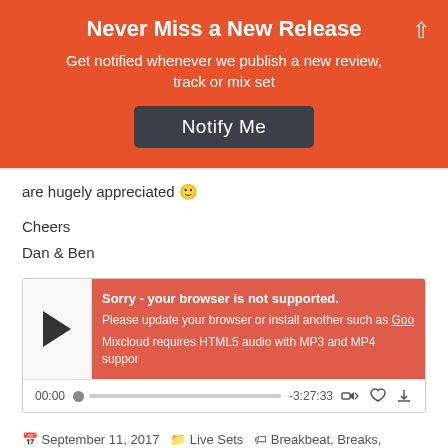Never Miss a New Release
Get notified whenever we publish a new review, track or mix set
Notify Me
are hugely appreciated 🙂
Cheers
Dan & Ben
[Figure (other): Embedded audio player widget with error message: Sorry - your browser is not supported. Please update your browser or install another such as Goo... Mixcloud requires HTML5 audio with MP3 and MP4 suppor... Timestamp: 00:00 / -3:27:33]
September 11, 2017  Live Sets  Breakbeat, Breaks, House, Minimal, Minimal House, Minimal Tech House, Minimal